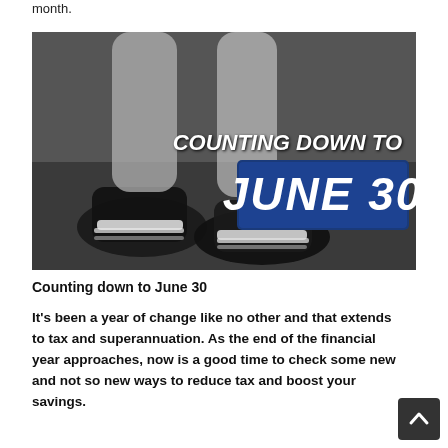month.
[Figure (photo): Person in athletic shoes in a running/starting position on dark floor. Right side has text overlay: 'COUNTING DOWN TO' in italic bold white, and 'JUNE 30' in large bold italic white text on a dark blue background.]
Counting down to June 30
It's been a year of change like no other and that extends to tax and superannuation. As the end of the financial year approaches, now is a good time to check some new and not so new ways to reduce tax and boost your savings.